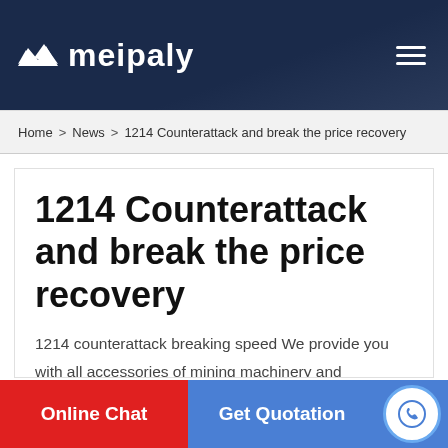meipaly
Home > News > 1214 Counterattack and break the price recovery
1214 Counterattack and break the price recovery
1214 counterattack breaking speed We provide you with all accessories of mining machinery and equipment
Online Chat   Get Quotation